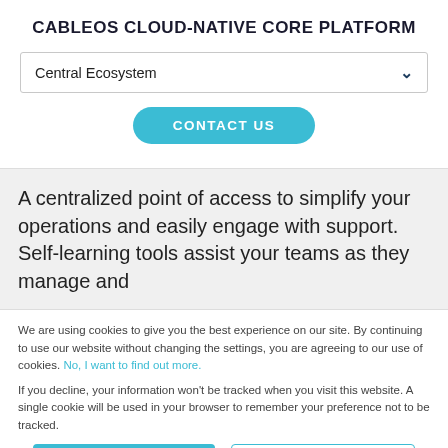CABLEOS CLOUD-NATIVE CORE PLATFORM
Central Ecosystem
CONTACT US
A centralized point of access to simplify your operations and easily engage with support. Self-learning tools assist your teams as they manage and
We are using cookies to give you the best experience on our site. By continuing to use our website without changing the settings, you are agreeing to our use of cookies. No, I want to find out more.
If you decline, your information won't be tracked when you visit this website. A single cookie will be used in your browser to remember your preference not to be tracked.
Accept
Decline